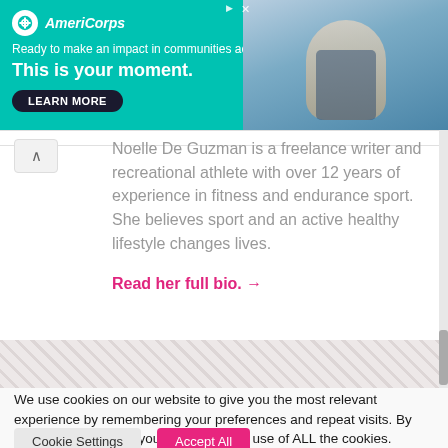[Figure (screenshot): AmeriCorps advertisement banner with teal/green background. Shows AmeriCorps logo, tagline 'Ready to make an impact in communities across the country?', headline 'This is your moment.', a 'LEARN MORE' button, and a photo of a person on the right side.]
Noelle De Guzman is a freelance writer and recreational athlete with over 12 years of experience in fitness and endurance sport. She believes sport and an active healthy lifestyle changes lives.
Read her full bio. →
We use cookies on our website to give you the most relevant experience by remembering your preferences and repeat visits. By clicking "Accept All", you consent to the use of ALL the cookies. However, you may visit "Cookie Settings" to provide a controlled consent.